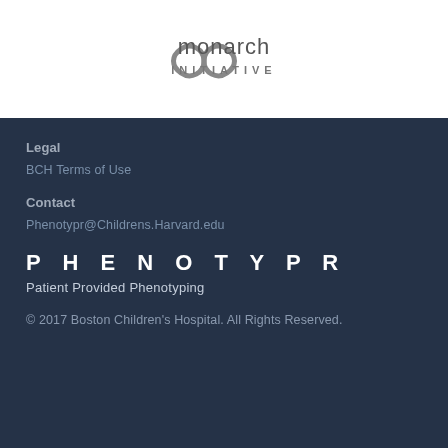[Figure (logo): Monarch Initiative logo with infinity-loop symbol and text 'monarch INITIATIVE']
Legal
BCH Terms of Use
Contact
Phenotypr@Childrens.Harvard.edu
P H E N O T Y P R
Patient Provided Phenotyping
© 2017 Boston Children's Hospital. All Rights Reserved.